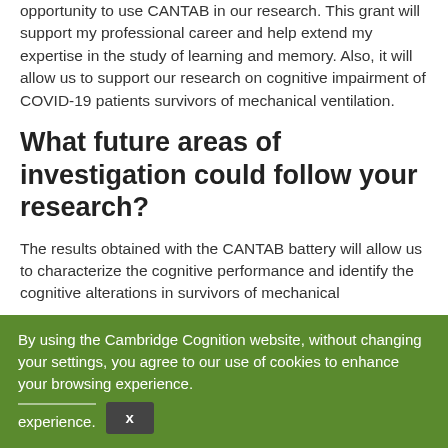opportunity to use CANTAB in our research. This grant will support my professional career and help extend my expertise in the study of learning and memory. Also, it will allow us to support our research on cognitive impairment of COVID-19 patients survivors of mechanical ventilation.
What future areas of investigation could follow your research?
The results obtained with the CANTAB battery will allow us to characterize the cognitive performance and identify the cognitive alterations in survivors of mechanical
By using the Cambridge Cognition website, without changing your settings, you agree to our use of cookies to enhance your browsing experience.